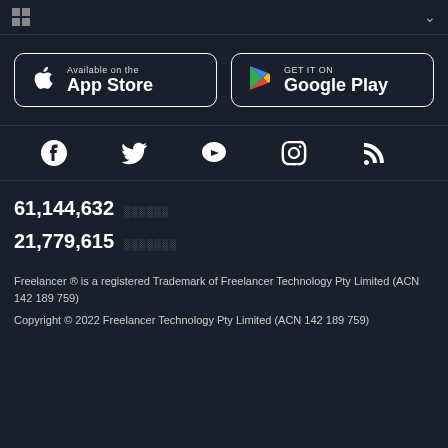⊞ ∨
[Figure (logo): App Store button - Available on the App Store with Apple logo]
[Figure (logo): Google Play button - GET IT ON Google Play with Google Play logo]
[Figure (infographic): Social media icons row: Facebook, Twitter, YouTube, Instagram, RSS feed]
61,144,632 ▓▓▓▓▓▓
21,779,615 ▓▓▓▓▓▓▓
Freelancer ® is a registered Trademark of Freelancer Technology Pty Limited (ACN 142 189 759)
Copyright © 2022 Freelancer Technology Pty Limited (ACN 142 189 759)